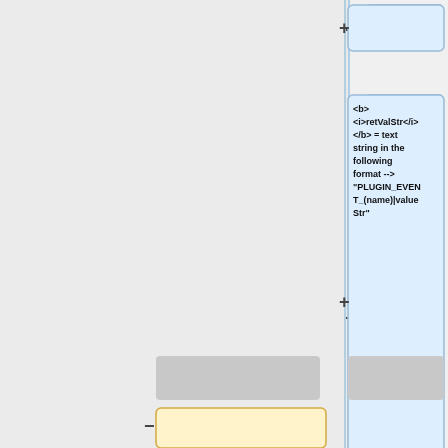[Figure (flowchart): A diff/comparison diagram showing two versions of a node. The right column shows a blue highlighted box with a '+' symbol containing the description: '<b><i>retValStr</i></b> = text string in the following format --> "PLUGIN_EVENT_(name)|valueStr"'. The left-center area shows a yellow highlighted box with a '-' symbol containing: '<b><i>retValStr</i></b> = "PLUGIN_EVENT_(name)|valueStr"'. Several gray placeholder boxes appear above and below the colored boxes. A vertical blue line separates sections.]